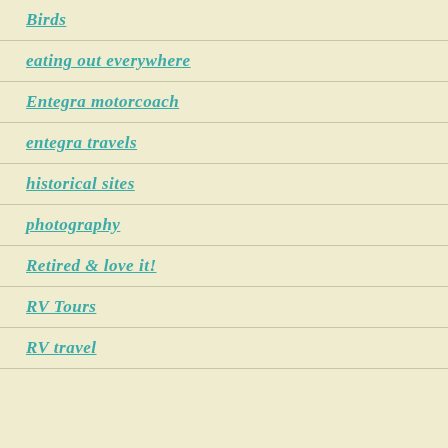Birds
eating out everywhere
Entegra motorcoach
entegra travels
historical sites
photography
Retired & love it!
RV Tours
RV travel